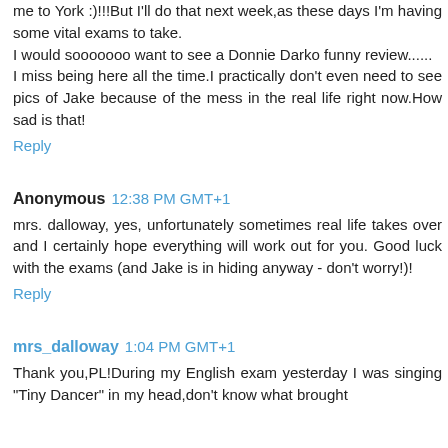me to York :)!!!But I'll do that next week,as these days I'm having some vital exams to take.
I would sooooooo want to see a Donnie Darko funny review......
I miss being here all the time.I practically don't even need to see pics of Jake because of the mess in the real life right now.How sad is that!
Reply
Anonymous  12:38 PM GMT+1
mrs. dalloway, yes, unfortunately sometimes real life takes over and I certainly hope everything will work out for you. Good luck with the exams (and Jake is in hiding anyway - don't worry!)!
Reply
mrs_dalloway  1:04 PM GMT+1
Thank you,PL!During my English exam yesterday I was singing "Tiny Dancer" in my head,don't know what brought